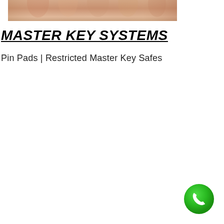[Figure (photo): Partial view of hands/fingers with skin-tone coloring, cropped at top of page]
MASTER KEY SYSTEMS
Pin Pads  |  Restricted Master Key Safes
[Figure (other): Green circular phone/call button icon in the bottom right corner]